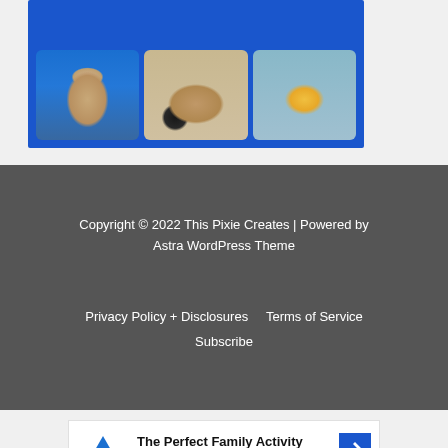[Figure (photo): Blue banner with three pet photos: a small dog in a blue knit collar, two dogs lounging on a sofa, and a bee-costumed toy elephant on a surface with plants]
Copyright © 2022 This Pixie Creates | Powered by Astra WordPress Theme
Privacy Policy + Disclosures   Terms of Service
Subscribe
[Figure (other): Topgolf advertisement banner: The Perfect Family Activity - Topgolf, with logo and blue direction arrow]